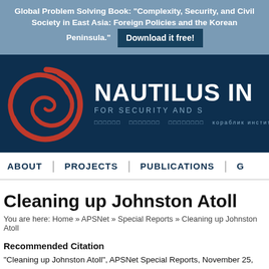Global Problem Solving Book: "Complexity, Security, and Civil Society in East Asia: Foreign Policies and the Korean Peninsula." Download it free!
[Figure (logo): Nautilus Institute logo: red spiral shell on dark navy background with text NAUTILUS INSTITUTE FOR SECURITY AND SUSTAINABILITY and multilingual navigation links]
ABOUT | PROJECTS | PUBLICATIONS | G
Cleaning up Johnston Atoll
You are here: Home » APSNet » Special Reports » Cleaning up Johnston Atoll
Recommended Citation
"Cleaning up Johnston Atoll", APSNet Special Reports, November 25, 2005, https:// johnston-atoll/